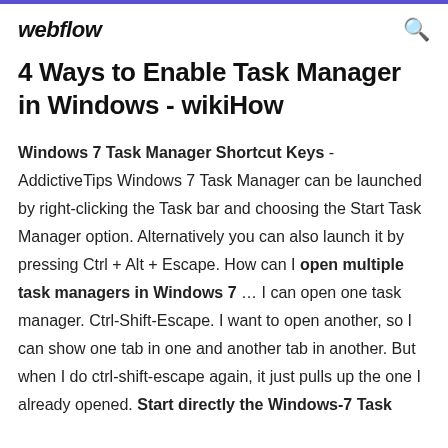webflow
4 Ways to Enable Task Manager in Windows - wikiHow
Windows 7 Task Manager Shortcut Keys - AddictiveTips Windows 7 Task Manager can be launched by right-clicking the Task bar and choosing the Start Task Manager option. Alternatively you can also launch it by pressing Ctrl + Alt + Escape. How can I open multiple task managers in Windows 7 … I can open one task manager. Ctrl-Shift-Escape. I want to open another, so I can show one tab in one and another tab in another. But when I do ctrl-shift-escape again, it just pulls up the one I already opened. Start directly the Windows-7 Task